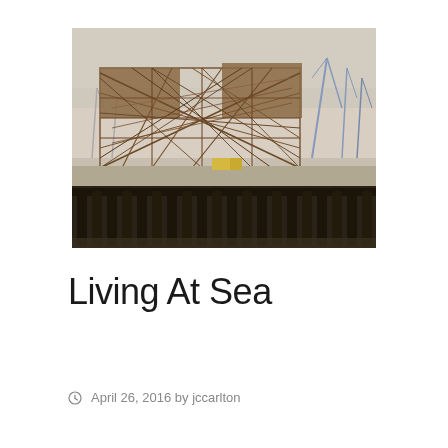[Figure (photo): Photograph of a large industrial steel truss structure, possibly an offshore oil platform jacket or bridge structure, sitting on a barge or dock. Cranes are visible in the background. The structure is a complex lattice of rusted brown steel members. Water and a concrete dock edge are visible in the foreground.]
Living At Sea
April 26, 2016 by jccarlton